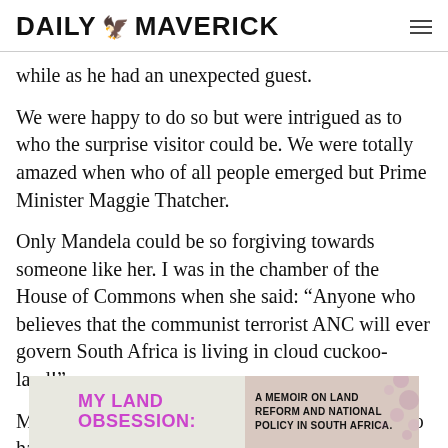DAILY MAVERICK
while as he had an unexpected guest.
We were happy to do so but were intrigued as to who the surprise visitor could be. We were totally amazed when who of all people emerged but Prime Minister Maggie Thatcher.
Only Mandela could be so forgiving towards someone like her. I was in the chamber of the House of Commons when she said: “Anyone who believes that the communist terrorist ANC will ever govern South Africa is living in cloud cuckoo-land!”
Mandela gave a lunch to thank various people who had contributed to the Struggle.
[Figure (other): Advertisement banner for 'MY LAND OBSESSION: A MEMOIR ON LAND REFORM AND NATIONAL POLICY IN SOUTH AFRICA']